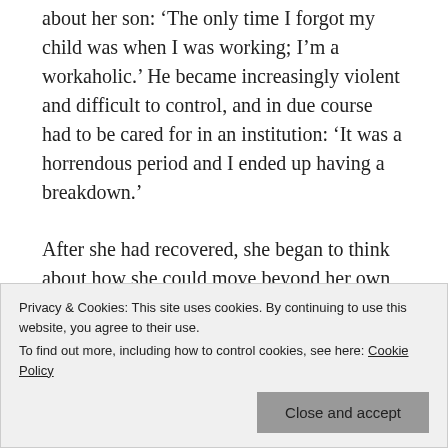about her son: 'The only time I forgot my child was when I was working; I'm a workaholic.' He became increasingly violent and difficult to control, and in due course had to be cared for in an institution: 'It was a horrendous period and I ended up having a breakdown.'
After she had recovered, she began to think about how she could move beyond her own family's problems to help others facing similar difficulties. 'I wanted to make a difference to other families.' She
Looking back to her parents' decision to put her
Privacy & Cookies: This site uses cookies. By continuing to use this website, you agree to their use.
To find out more, including how to control cookies, see here: Cookie Policy
Close and accept